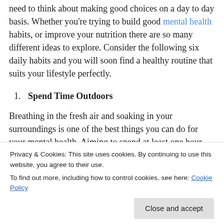need to think about making good choices on a day to day basis. Whether you're trying to build good mental health habits, or improve your nutrition there are so many different ideas to explore. Consider the following six daily habits and you will soon find a healthy routine that suits your lifestyle perfectly.
1. Spend Time Outdoors
Breathing in the fresh air and soaking in your surroundings is one of the best things you can do for your mental health. Aiming to spend at least one hour outdoors each day will
Privacy & Cookies: This site uses cookies. By continuing to use this website, you agree to their use.
To find out more, including how to control cookies, see here: Cookie Policy
alternative.